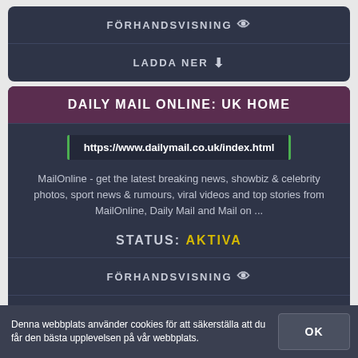FÖRHANDSVISNING 👁
LADDA NER ⬇
DAILY MAIL ONLINE: UK HOME
https://www.dailymail.co.uk/index.html
MailOnline - get the latest breaking news, showbiz & celebrity photos, sport news & rumours, viral videos and top stories from MailOnline, Daily Mail and Mail on ...
STATUS: AKTIVA
FÖRHANDSVISNING 👁
LADDA NER ⬇
Denna webbplats använder cookies för att säkerställa att du får den bästa upplevelsen på vår webbplats.
OK